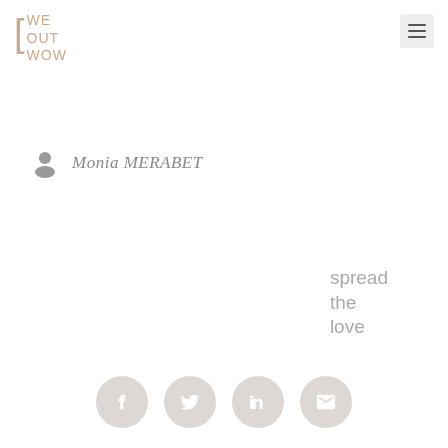[Figure (logo): We Out Wow logo with bracket and text in tan/beige color]
[Figure (other): Hamburger menu icon (three horizontal lines) in a light grey rounded square]
Monia MERABET
spread the love
[Figure (other): Four social media share buttons in beige/taupe circles: Facebook, Twitter, LinkedIn, Email]